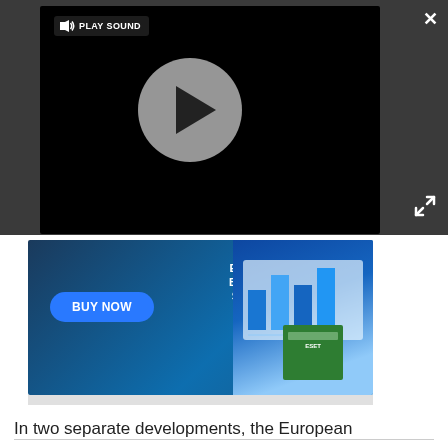[Figure (screenshot): A video player overlay on a dark gray background, showing a black video thumbnail with a circular play button in the center. A 'PLAY SOUND' label with a speaker icon appears in the top-left of the video. An X close button appears top-right of the dark bar. An expand/fullscreen icon appears at right-center. Below the video is an advertisement banner for 'Essential Business Security' with a blue 'BUY NOW' button and a product box image.]
In two separate developments, the European Parliament, Council and Commission have reached provisional agreement on new telecoms and spectrum rules, while US congress will vote on whether to allow a 5G spectrum auction to take place later this year.